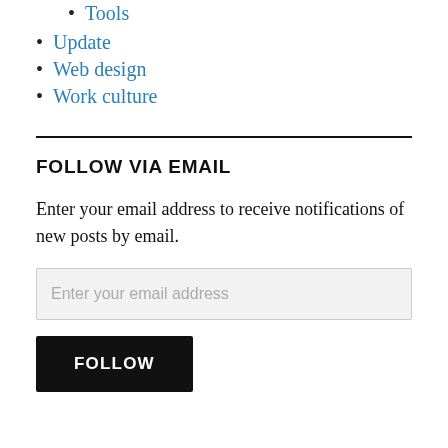Tools
Update
Web design
Work culture
FOLLOW VIA EMAIL
Enter your email address to receive notifications of new posts by email.
Enter your email address
FOLLOW